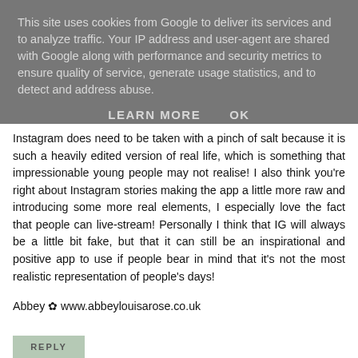This site uses cookies from Google to deliver its services and to analyze traffic. Your IP address and user-agent are shared with Google along with performance and security metrics to ensure quality of service, generate usage statistics, and to detect and address abuse.
LEARN MORE    OK
Instagram does need to be taken with a pinch of salt because it is such a heavily edited version of real life, which is something that impressionable young people may not realise! I also think you're right about Instagram stories making the app a little more raw and introducing some more real elements, I especially love the fact that people can live-stream! Personally I think that IG will always be a little bit fake, but that it can still be an inspirational and positive app to use if people bear in mind that it's not the most realistic representation of people's days!
Abbey ✿ www.abbeylouisarose.co.uk
REPLY